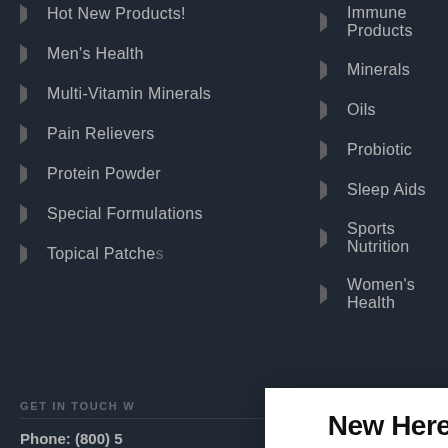Hot New Products!
Men's Health
Multi-Vitamin Minerals
Pain Relievers
Protein Powder
Special Formulations
Topical Patche…
Immune Products
Minerals
Oils
Probiotic
Sleep Aids
Sports Nutrition
Women’s Health
GET IN TOUCH W…
Phone: (800) 5…
Contact Us
New Here?
Stay in the know with news and prom…
Best business email address
Business Name
Subscribe YES!